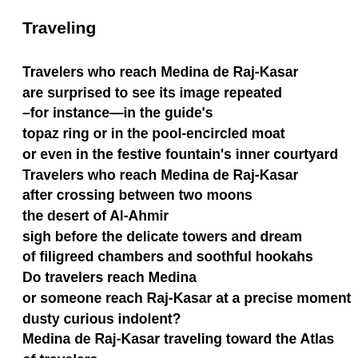Traveling
Travelers who reach Medina de Raj-Kasar
are surprised to see its image repeated
–for instance—in the guide's
topaz ring or in the pool-encircled moat
or even in the festive fountain's inner courtyard
Travelers who reach Medina de Raj-Kasar
after crossing between two moons
the desert of Al-Ahmir
sigh before the delicate towers and dream
of filigreed chambers and soothful hookahs
Do travelers reach Medina
or someone reach Raj-Kasar at a precise moment
dusty curious indolent?
Medina de Raj-Kasar traveling toward the Atlas
of travelers